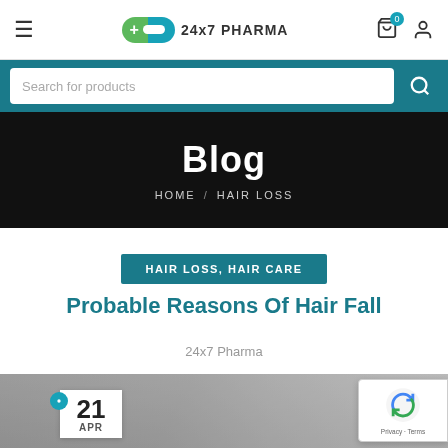24x7 PHARMA — navigation header with hamburger menu, logo, cart and user icons
Search for products
Blog
HOME / HAIR LOSS
HAIR LOSS, HAIR CARE
Probable Reasons Of Hair Fall
24x7 Pharma
[Figure (photo): Blog article featured image showing a person in a white coat, partially visible, with a date badge showing 21 APR]
Privacy · Terms